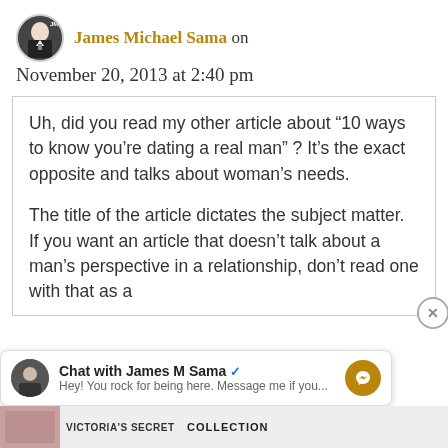James Michael Sama on November 20, 2013 at 2:40 pm
Uh, did you read my other article about “10 ways to know you’re dating a real man” ? It’s the exact opposite and talks about woman’s needs.

The title of the article dictates the subject matter. If you want an article that doesn’t talk about a man’s perspective in a relationship, don’t read one with that as a
Chat with James M Sama
Hey! You rock for being here. Message me if you...